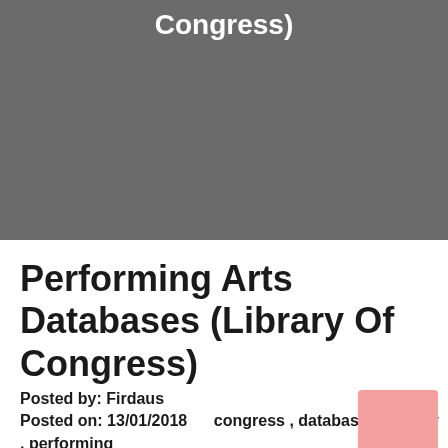Congress)
Performing Arts Databases (Library Of Congress)
Posted by: Firdaus
Posted on: 13/01/2018      congress , databases , library , performing